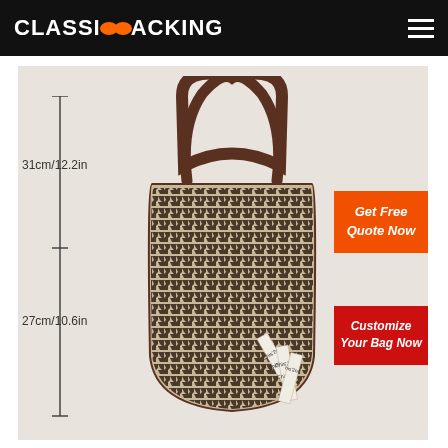CLASSICOPACKING
[Figure (photo): A houndstooth patterned tote bag with dark brown leather handles and a decorative ribbon/tag labeled Chis'2nd. Dimension annotations show 31cm/12.2in for the upper portion and 27cm/10.6in for the lower portion of the bag. Overlaid CTA buttons: 'Get Free Quote Now' (orange) and 'Customize Your Bag Now' (red).]